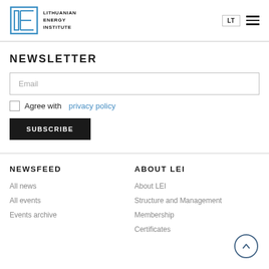LITHUANIAN ENERGY INSTITUTE
NEWSLETTER
Email
Agree with privacy policy
SUBSCRIBE
NEWSFEED
ABOUT LEI
All news
All events
Events archive
About LEI
Structure and Management
Membership
Certificates